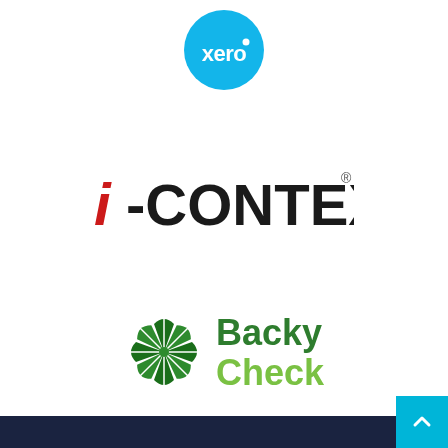[Figure (logo): Xero logo — circular teal/cyan background with white 'xero' wordmark]
[Figure (logo): i-CONTEXT logo — red italic 'i' followed by black bold '-CONTEXT' text with registered trademark symbol]
[Figure (logo): BackyCheck logo — green umbrella/pinwheel icon with dark green 'Backy' and light green 'Check' text]